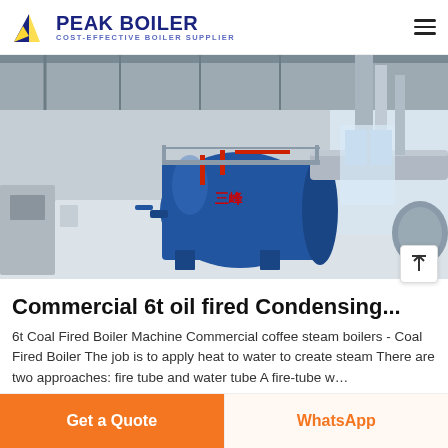PEAK BOILER — COST-EFFECTIVE BOILER SUPPLIER
[Figure (photo): Industrial boiler room showing a large blue cylindrical steam boiler with red piping, silver ducting, and associated equipment in a factory setting with high metal ceiling.]
Commercial 6t oil fired Condensing...
6t Coal Fired Boiler Machine Commercial coffee steam boilers - Coal Fired Boiler The job is to apply heat to water to create steam There are two approaches: fire tube and water tube A fire-tube w…
Get a Quote | WhatsApp